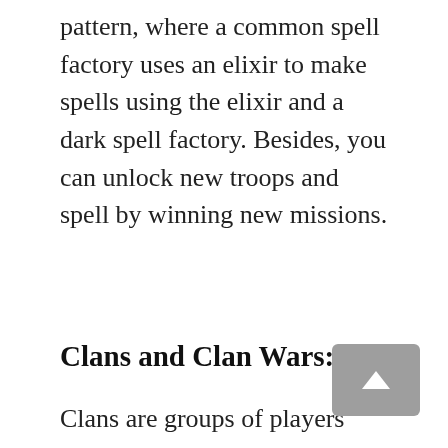pattern, where a common spell factory uses an elixir to make spells using the elixir and a dark spell factory. Besides, you can unlock new troops and spell by winning new missions.
Clans and Clan Wars:
Clans are groups of players who can participate together to assist each other. On the other hand, Clan Wars is where two clanmates can face a friendly challenge. The clan leaders and co-leaders start the challenge and fight seven clans against each other to advance to the successive league to